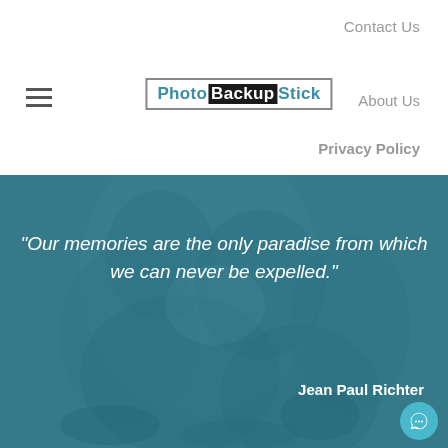Contact Us
[Figure (logo): Photo Backup Stick logo with hamburger menu icon]
About Us
Privacy Policy
[Figure (photo): Two people close together, teal/blue overlay with quote text: "Our memories are the only paradise from which we can never be expelled." attributed to Jean Paul Richter]